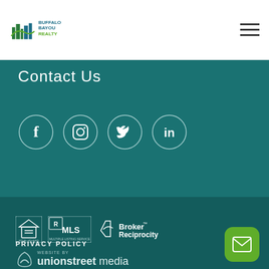Buffalo Bayou Realty logo and navigation
Contact Us
[Figure (infographic): Four social media icons in circles: Facebook, Instagram, Twitter, LinkedIn]
[Figure (infographic): Footer logos: Equal Housing Opportunity, MLS, Broker Reciprocity]
PRIVACY POLICY
[Figure (logo): Website by unionstreet media logo]
[Figure (infographic): Green email/contact button]